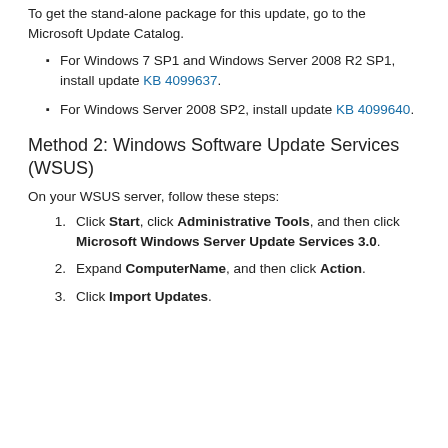To get the stand-alone package for this update, go to the Microsoft Update Catalog.
For Windows 7 SP1 and Windows Server 2008 R2 SP1, install update KB 4099637.
For Windows Server 2008 SP2, install update KB 4099640.
Method 2: Windows Software Update Services (WSUS)
On your WSUS server, follow these steps:
Click Start, click Administrative Tools, and then click Microsoft Windows Server Update Services 3.0.
Expand ComputerName, and then click Action.
Click Import Updates.